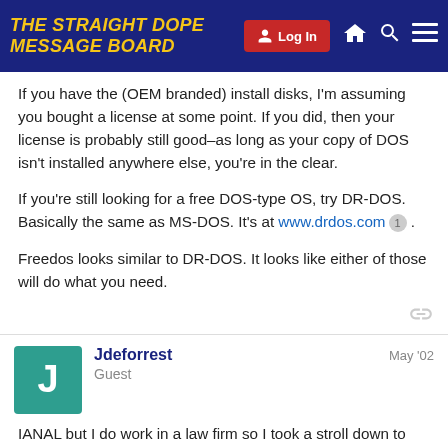THE STRAIGHT DOPE MESSAGE BOARD
If you have the (OEM branded) install disks, I'm assuming you bought a license at some point. If you did, then your license is probably still good–as long as your copy of DOS isn't installed anywhere else, you're in the clear.
If you're still looking for a free DOS-type OS, try DR-DOS. Basically the same as MS-DOS. It's at www.drdos.com 1 .
Freedos looks similar to DR-DOS. It looks like either of those will do what you need.
Jdeforrest
Guest
May '02
IANAL but I do work in a law firm so I took a stroll down to one of our intellectual property rights attorneys and this is what he had to say.